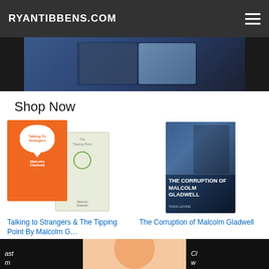RYANTIBBENS.COM
Shop Now
[Figure (photo): Product listing: two book covers - Talking to Strangers & The Tipping Point by Malcolm Gladwell]
Talking to Strangers & The Tipping Point By Malcolm G…
$39.98 $50.00
★★★★½ (14)
[Figure (photo): Product listing: The Corruption of Malcolm Gladwell book cover with author photo]
The Corruption of Malcolm Gladwell
$2.99
★★½☆☆ (43)
Ads by Amazon
[Figure (photo): Bottom strip showing three partial images: podcast thumbnail, illustrated bald head, and another dark thumbnail]